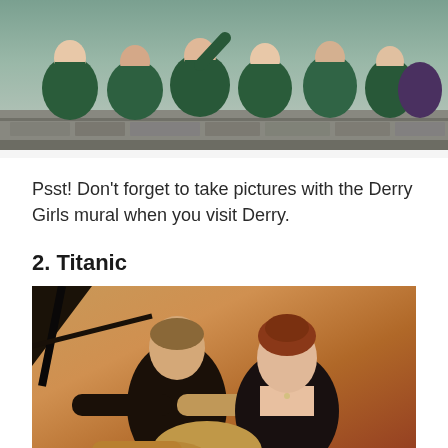[Figure (photo): Group photo of people in green school uniforms (Derry Girls cast) standing behind a stone wall, appearing to be in school attire]
Psst! Don't forget to take pictures with the Derry Girls mural when you visit Derry.
2. Titanic
[Figure (photo): Scene from the movie Titanic showing a man and woman in iconic pose on the bow of the ship, with warm sunset tones]